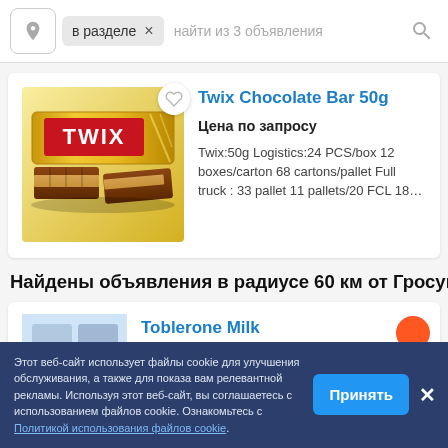в разделе × найти из 3 объявления
Twix Chocolate Bar 50g
Цена по запросу
Twix:50g Logistics:24 PCS/box 12 boxes/carton 68 cartons/pallet Full truck : 33 pallet 11 pallets/20 FCL 18…
Найдены объявления в радиусе 60 км от Гросупле
Toblerone Milk
Этот веб-сайт использует файлы cookie для улучшения обслуживания, а также для показа вам релевантной рекламы. Используя этот веб-сайт, вы соглашаетесь с использованием файлов cookie. Ознакомьтесь с Политикой использования файлов cookie.